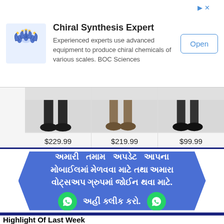[Figure (infographic): Advertisement banner for Chiral Synthesis Expert by BOC Sciences with logo, description text, and Open button]
Chiral Synthesis Expert
Experienced experts use advanced equipment to produce chiral chemicals of various scales. BOC Sciences
Open
[Figure (photo): Three product images showing feet/legs in dress shoes with prices $229.99, $219.99, $99.99]
$229.99
$219.99
$99.99
[Figure (infographic): Gujarati language WhatsApp group join banner with blue background and WhatsApp icons]
Highlight Of Last Week